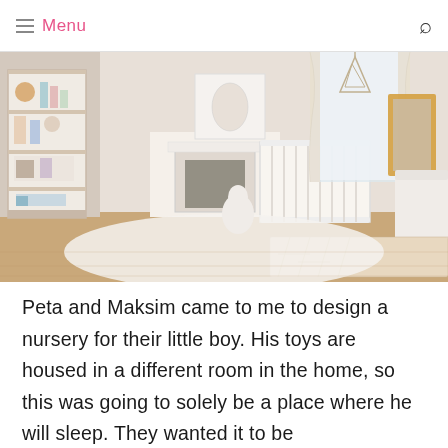Menu
[Figure (photo): Elegant white nursery room with a white crib near a window with cream drapes, a white fireplace, open bookshelf with toys, gold-framed mirror, tufted white sofa/chaise, geometric pendant light, and fluffy white rug on hardwood floor.]
Peta and Maksim came to me to design a nursery for their little boy. His toys are housed in a different room in the home, so this was going to solely be a place where he will sleep. They wanted it to be